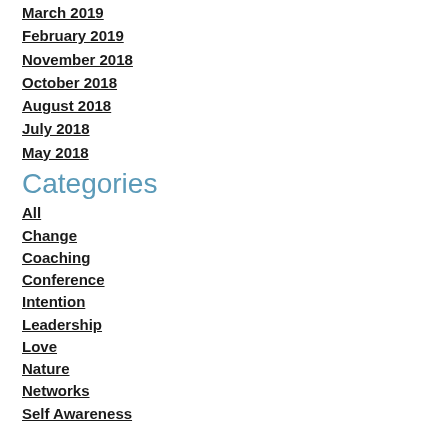March 2019
February 2019
November 2018
October 2018
August 2018
July 2018
May 2018
Categories
All
Change
Coaching
Conference
Intention
Leadership
Love
Nature
Networks
Self Awareness